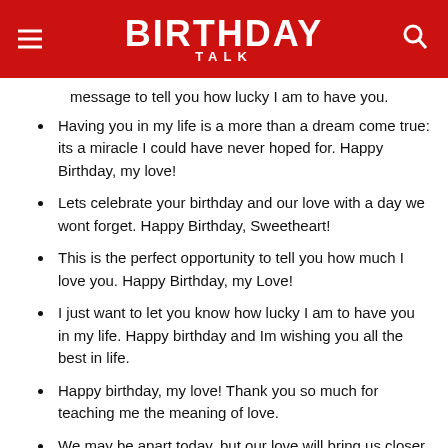BIRTHDAY TALK
message to tell you how lucky I am to have you.
Having you in my life is a more than a dream come true: its a miracle I could have never hoped for. Happy Birthday, my love!
Lets celebrate your birthday and our love with a day we wont forget. Happy Birthday, Sweetheart!
This is the perfect opportunity to tell you how much I love you. Happy Birthday, my Love!
I just want to let you know how lucky I am to have you in my life. Happy birthday and Im wishing you all the best in life.
Happy birthday, my love! Thank you so much for teaching me the meaning of love.
We may be apart today, but our love will bring us closer together.
My gift for you is the gift of love and Ill continue to give you this gift for the rest of our lives.